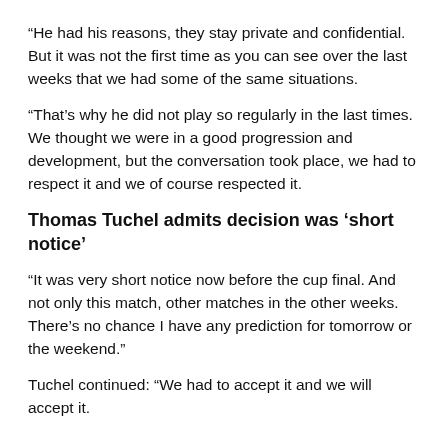“He had his reasons, they stay private and confidential. But it was not the first time as you can see over the last weeks that we had some of the same situations.
“That’s why he did not play so regularly in the last times. We thought we were in a good progression and development, but the conversation took place, we had to respect it and we of course respected it.
Thomas Tuchel admits decision was ‘short notice’
“It was very short notice now before the cup final. And not only this match, other matches in the other weeks. There’s no chance I have any prediction for tomorrow or the weekend.”
Tuchel continued: “We had to accept it and we will accept it.